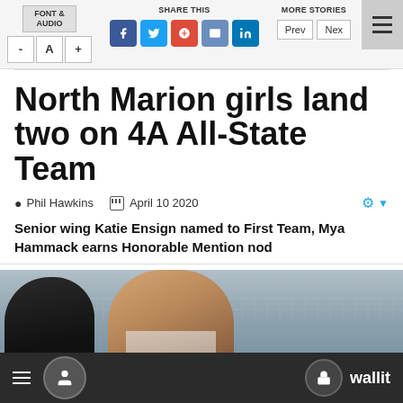FONT & AUDIO | SHARE THIS | MORE STORIES
North Marion girls land two on 4A All-State Team
Phil Hawkins   April 10 2020
Senior wing Katie Ensign named to First Team, Mya Hammack earns Honorable Mention nod
[Figure (photo): Two female basketball players on court with crowd in background]
wallit